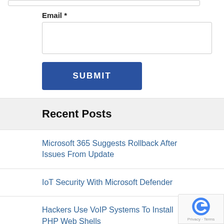Email *
[Email input field]
SUBMIT
Recent Posts
Microsoft 365 Suggests Rollback After Issues From Update
IoT Security With Microsoft Defender
Hackers Use VoIP Systems To Install PHP Web Shells
Google Experiences International